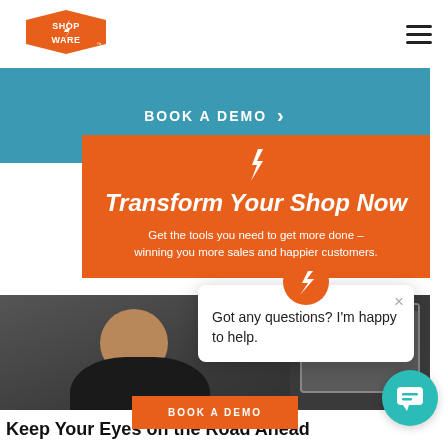[Figure (logo): Shop-Ware logo: orange hexagon badge shape with white text SHOP WARE and a lightning bolt]
BOOK A DEMO ›
Transform Your Shop Now
Get the tools you need to get more done – winning you more sales and happier customers.
[Figure (photo): Man seen from behind looking at computer monitor screens in a shop environment]
Got any questions? I'm happy to help.
BOOK A DEMO
Keep Your Eyes on the Road Ahead